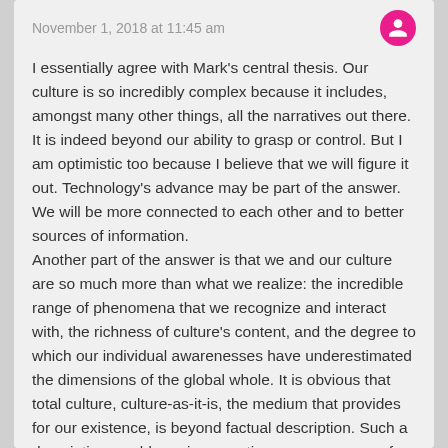November 1, 2018 at 11:45 am
I essentially agree with Mark's central thesis. Our culture is so incredibly complex because it includes, amongst many other things, all the narratives out there. It is indeed beyond our ability to grasp or control. But I am optimistic too because I believe that we will figure it out. Technology's advance may be part of the answer. We will be more connected to each other and to better sources of information.
Another part of the answer is that we and our culture are so much more than what we realize: the incredible range of phenomena that we recognize and interact with, the richness of culture's content, and the degree to which our individual awarenesses have underestimated the dimensions of the global whole. It is obvious that total culture, culture-as-it-is, the medium that provides for our existence, is beyond factual description. Such a description would require a continuous awareness of the